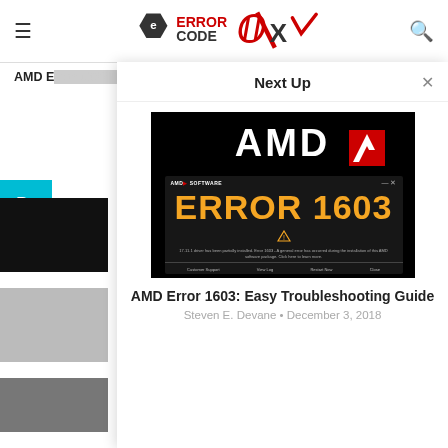Error Code OX — navigation header with logo, hamburger menu, and search icon
AMD Error 1603: Easy Troubleshooting Guide
[Figure (screenshot): Next Up overlay panel showing AMD Error 1603 promotional image with AMD logo and software dialog showing ERROR 1603 in orange text]
AMD Error 1603: Easy Troubleshooting Guide
Steven E. Devane • December 3, 2018